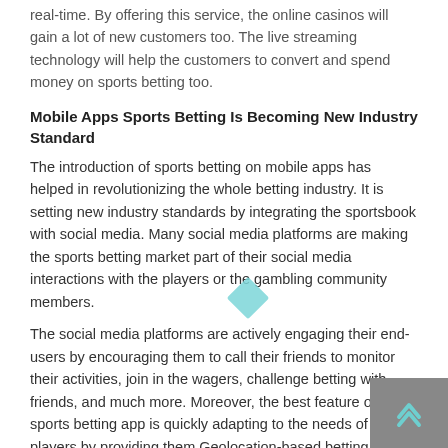real-time. By offering this service, the online casinos will gain a lot of new customers too. The live streaming technology will help the customers to convert and spend money on sports betting too.
Mobile Apps Sports Betting Is Becoming New Industry Standard
The introduction of sports betting on mobile apps has helped in revolutionizing the whole betting industry. It is setting new industry standards by integrating the sportsbook with social media. Many social media platforms are making the sports betting market part of their social media interactions with the players or the gambling community members.
The social media platforms are actively engaging their end-users by encouraging them to call their friends to monitor their activities, join in the wagers, challenge betting with friends, and much more. Moreover, the best feature of the sports betting app is quickly adapting to the needs of the players by providing them Geolocation-based betting support. This integration will help the users to connect with any sports game of their choice and they can start betting too.
Mobile device use has risen in the past few years and mobile apps have made the work easier whether it is for making purchases or for